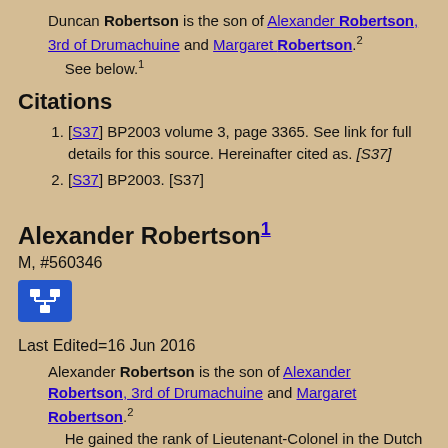Duncan Robertson is the son of Alexander Robertson, 3rd of Drumachuine and Margaret Robertson.2 See below.1
Citations
[S37] BP2003 volume 3, page 3365. See link for full details for this source. Hereinafter cited as. [S37]
[S37] BP2003. [S37]
Alexander Robertson1
M, #560346
[Figure (other): Blue icon button with genealogy/family tree symbol]
Last Edited=16 Jun 2016
Alexander Robertson is the son of Alexander Robertson, 3rd of Drumachuine and Margaret Robertson.2 He gained the rank of Lieutenant-Colonel in the Dutch